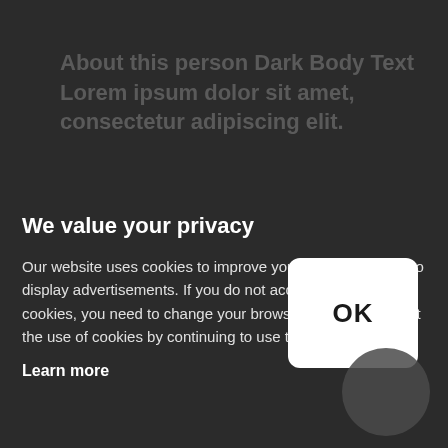About this person Dark Body Text Lorem ipsum dolor sit amet, consectetur adipiscing elit.
Skype
LinkedIn
We value your privacy
Our website uses cookies to improve your experience and to display advertisements. If you do not accept the use of cookies, you need to change your browser settings. I accept the use of cookies by continuing to use the website.
Learn more
[Figure (other): White rounded rectangle button with bold black text 'OK']
[Figure (other): Dark circular icon in bottom-right corner]